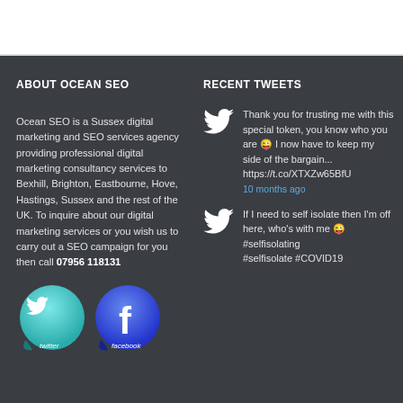ABOUT OCEAN SEO
Ocean SEO is a Sussex digital marketing and SEO services agency providing professional digital marketing consultancy services to Bexhill, Brighton, Eastbourne, Hove, Hastings, Sussex and the rest of the UK. To inquire about our digital marketing services or you wish us to carry out a SEO campaign for you then call 07956 118131
[Figure (illustration): Twitter and Facebook social media button stickers]
RECENT TWEETS
Thank you for trusting me with this special token, you know who you are 😜 I now have to keep my side of the bargain... https://t.co/XTXZw65BfU
10 months ago
If I need to self isolate then I'm off here, who's with me 😜 #selfisolating #selfisolate #COVID19